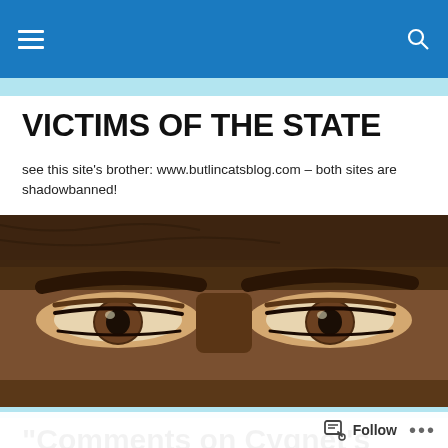VICTIMS OF THE STATE — navigation bar
VICTIMS OF THE STATE
see this site's brother: www.butlincatsblog.com – both sites are shadowbanned!
[Figure (photo): Close-up of a person's eyes, cropped to show just the eye region with dark eyebrows against a blurred dark background]
“Comments on Cygnet’s Services” + “CYGNET’S $19500 BONANZA” +